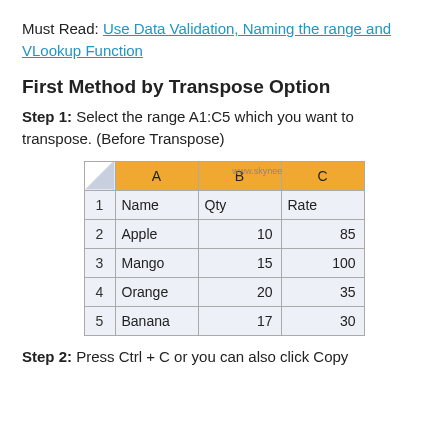Must Read: Use Data Validation, Naming the range and VLookup Function
First Method by Transpose Option
Step 1: Select the range A1:C5 which you want to transpose. (Before Transpose)
[Figure (screenshot): Excel spreadsheet showing columns A, B, C with rows 1-5 containing Name/Qty/Rate headers and data: Apple 10 85, Mango 15 100, Orange 20 35, Banana 17 30]
Step 2: Press Ctrl + C or you can also click Copy